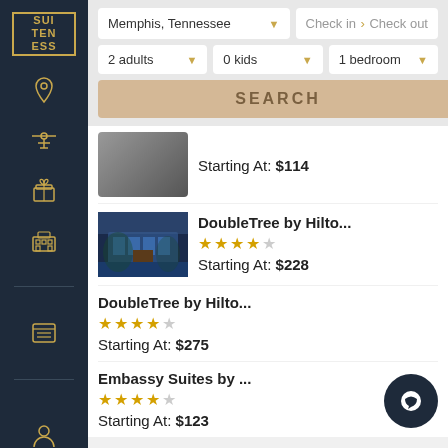[Figure (logo): Suiteness logo with gold border, text SUI TEN ESS stacked]
Memphis, Tennessee
Check in  > Check out
2 adults
0 kids
1 bedroom
SEARCH
Starting At: $114
DoubleTree by Hilto...
Starting At: $228
DoubleTree by Hilto...
Starting At: $275
Embassy Suites by ...
Starting At: $123